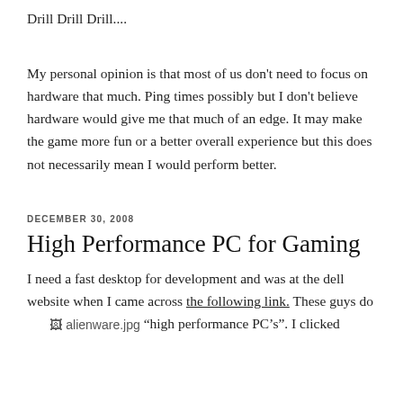Drill Drill Drill....
My personal opinion is that most of us don't need to focus on hardware that much. Ping times possibly but I don't believe hardware would give me that much of an edge. It may make the game more fun or a better overall experience but this does not necessarily mean I would perform better.
DECEMBER 30, 2008
High Performance PC for Gaming
I need a fast desktop for development and was at the dell website when I came across the following link. These guys do "high performance PC's". I clicked